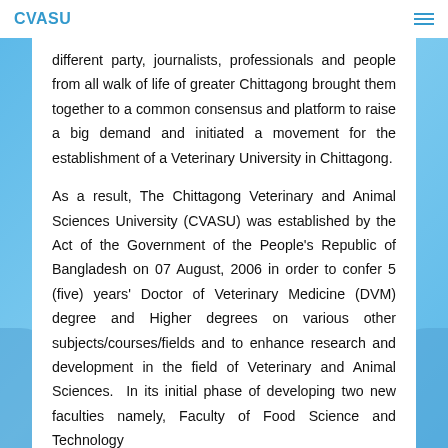CVASU
different party, journalists, professionals and people from all walk of life of greater Chittagong brought them together to a common consensus and platform to raise a big demand and initiated a movement for the establishment of a Veterinary University in Chittagong.
As a result, The Chittagong Veterinary and Animal Sciences University (CVASU) was established by the Act of the Government of the People's Republic of Bangladesh on 07 August, 2006 in order to confer 5 (five) years' Doctor of Veterinary Medicine (DVM) degree and Higher degrees on various other subjects/courses/fields and to enhance research and development in the field of Veterinary and Animal Sciences. In its initial phase of developing two new faculties namely, Faculty of Food Science and Technology